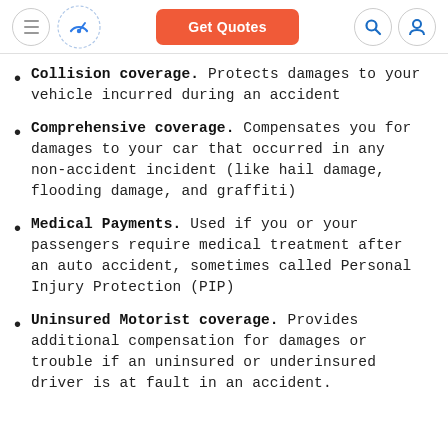Get Quotes
Collision coverage. Protects damages to your vehicle incurred during an accident
Comprehensive coverage. Compensates you for damages to your car that occurred in any non-accident incident (like hail damage, flooding damage, and graffiti)
Medical Payments. Used if you or your passengers require medical treatment after an auto accident, sometimes called Personal Injury Protection (PIP)
Uninsured Motorist coverage. Provides additional compensation for damages or trouble if an uninsured or underinsured driver is at fault in an accident.